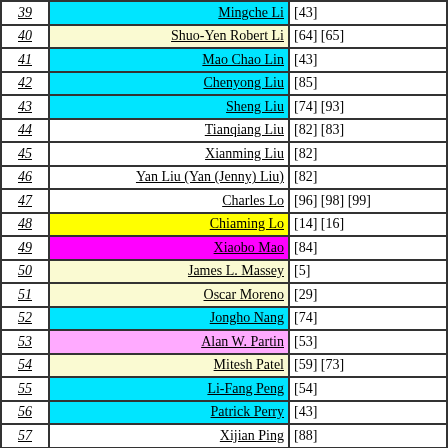| # | Name | Refs |
| --- | --- | --- |
| 39 | Mingche Li | [43] |
| 40 | Shuo-Yen Robert Li | [64] [65] |
| 41 | Mao Chao Lin | [43] |
| 42 | Chenyong Liu | [85] |
| 43 | Sheng Liu | [74] [93] |
| 44 | Tianqiang Liu | [82] [83] |
| 45 | Xianming Liu | [82] |
| 46 | Yan Liu (Yan (Jenny) Liu) | [82] |
| 47 | Charles Lo | [96] [98] [99] |
| 48 | Chiaming Lo | [14] [16] |
| 49 | Xiaobo Mao | [84] |
| 50 | James L. Massey | [5] |
| 51 | Oscar Moreno | [29] |
| 52 | Jongho Nang | [74] |
| 53 | Alan W. Partin | [53] |
| 54 | Mitesh Patel | [59] [73] |
| 55 | Li-Fang Peng | [54] |
| 56 | Patrick Perry | [43] |
| 57 | Xijian Ping | [88] |